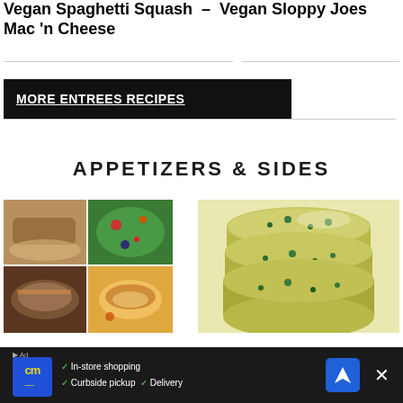Vegan Spaghetti Squash – Vegan Sloppy Joes Mac 'n Cheese
APPETIZERS & SIDES
[Figure (photo): Grid of four food photos: fried items, colorful salad, noodle or slaw dish, onion rings]
[Figure (photo): Stack of spinach or herb muffins/frittata bites]
Advertisement: In-store shopping, Curbside pickup, Delivery